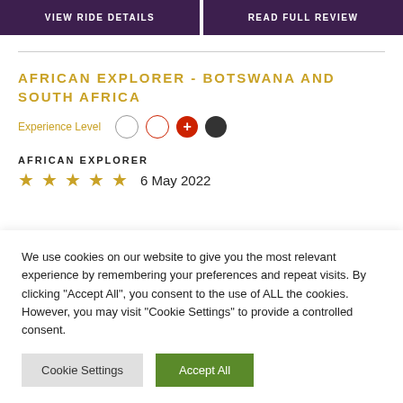VIEW RIDE DETAILS
READ FULL REVIEW
AFRICAN EXPLORER - BOTSWANA AND SOUTH AFRICA
Experience Level
AFRICAN EXPLORER
★★★★★  6 May 2022
We use cookies on our website to give you the most relevant experience by remembering your preferences and repeat visits. By clicking "Accept All", you consent to the use of ALL the cookies. However, you may visit "Cookie Settings" to provide a controlled consent.
Cookie Settings
Accept All